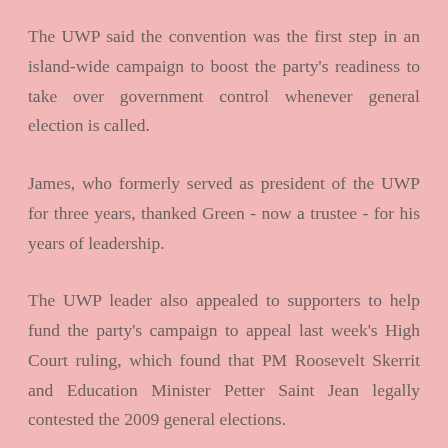The UWP said the convention was the first step in an island-wide campaign to boost the party's readiness to take over government control whenever general election is called.
James, who formerly served as president of the UWP for three years, thanked Green - now a trustee - for his years of leadership.
The UWP leader also appealed to supporters to help fund the party's campaign to appeal last week's High Court ruling, which found that PM Roosevelt Skerrit and Education Minister Petter Saint Jean legally contested the 2009 general elections.
SOURCE: http://www.caribbean360.com